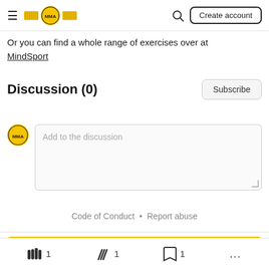MMA — Create account
Or you can find a whole range of exercises over at MindSport
Discussion (0)
Add to the discussion
Code of Conduct • Report abuse
[Figure (other): Yellow banner with MMA logo icon partially visible at bottom of page]
👊 1   🤙 1   🔖 1   ...